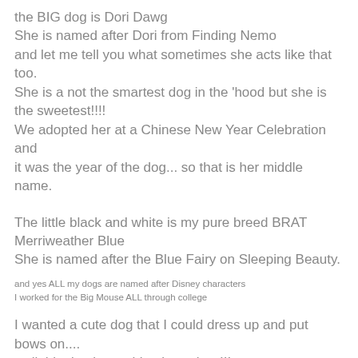the BIG dog is Dori Dawg
She is named after Dori from Finding Nemo
and let me tell you what sometimes she acts like that too.
She is a not the smartest dog in the 'hood but she is the sweetest!!!!
We adopted her at a Chinese New Year Celebration and
it was the year of the dog... so that is her middle name.
The little black and white is my pure breed BRAT Merriweather Blue
She is named after the Blue Fairy on Sleeping Beauty.
and yes ALL my dogs are named after Disney characters
I worked for the Big Mouse ALL through college
I wanted a cute dog that I could dress up and put bows on....
well this dog is anything but prissy!!!
She is the BOSS!!!
BUT I must say she is the BESTEST friend to child #3... Drew.